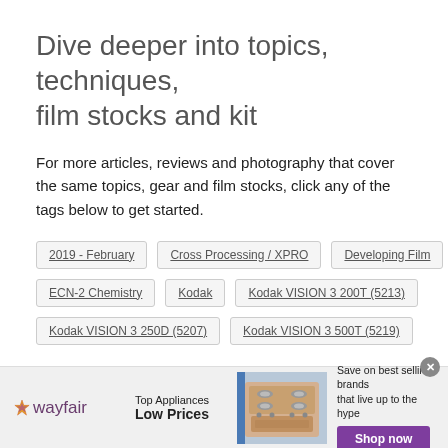Dive deeper into topics, techniques, film stocks and kit
For more articles, reviews and photography that cover the same topics, gear and film stocks, click any of the tags below to get started.
2019 - February
Cross Processing / XPRO
Developing Film
ECN-2 Chemistry
Kodak
Kodak VISION 3 200T (5213)
Kodak VISION 3 250D (5207)
Kodak VISION 3 500T (5219)
[Figure (infographic): Wayfair advertisement banner: Top Appliances Low Prices, image of a stove, Save on best selling brands that live up to the hype, Shop now button]